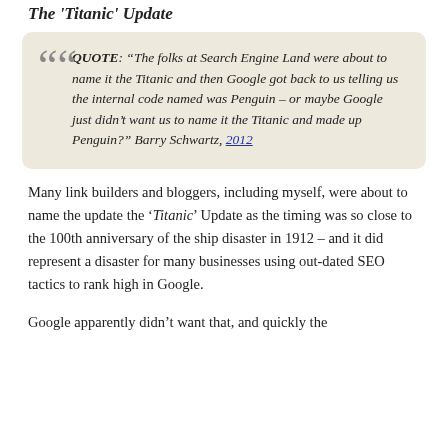The 'Titanic' Update
QUOTE: “The folks at Search Engine Land were about to name it the Titanic and then Google got back to us telling us the internal code named was Penguin – or maybe Google just didn’t want us to name it the Titanic and made up Penguin?” Barry Schwartz, 2012
Many link builders and bloggers, including myself, were about to name the update the ‘Titanic’ Update as the timing was so close to the 100th anniversary of the ship disaster in 1912 – and it did represent a disaster for many businesses using out-dated SEO tactics to rank high in Google.
Google apparently didn’t want that, and quickly the